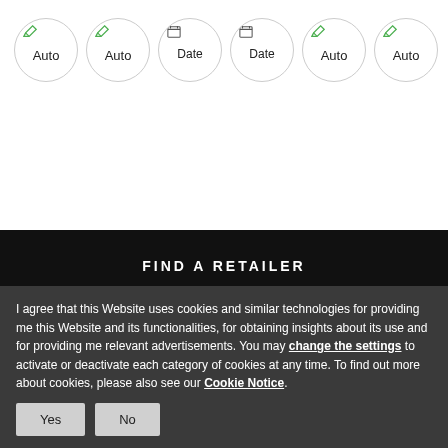[Figure (screenshot): Row of circular icons labeled Auto, Auto, Date, Date, Auto, Auto with pencil/edit icons]
FIND A RETAILER
[Figure (other): Scroll-up arrow button (circle with upward arrow)]
[Figure (other): Back navigation button (dark circle with left arrow)]
I agree that this Website uses cookies and similar technologies for providing me this Website and its functionalities, for obtaining insights about its use and for providing me relevant advertisements. You may change the settings to activate or deactivate each category of cookies at any time. To find out more about cookies, please also see our Cookie Notice.
Yes
No